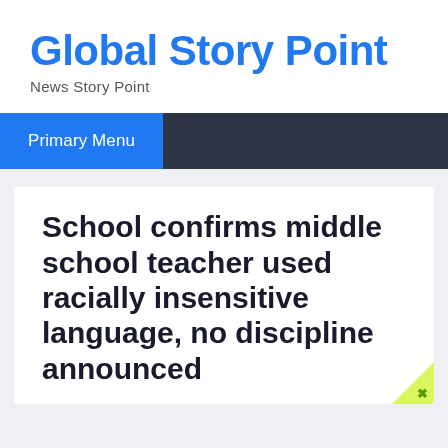Global Story Point
News Story Point
Primary Menu
School confirms middle school teacher used racially insensitive language, no discipline announced